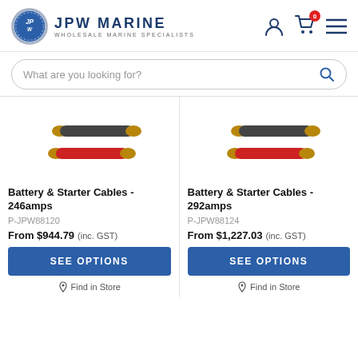JPW MARINE WHOLESALE MARINE SPECIALISTS
What are you looking for?
[Figure (photo): Two marine cables: one dark grey and one red, both with gold ends - Battery & Starter Cables 246amps]
Battery & Starter Cables - 246amps
P-JPW88120
From $944.79  (inc. GST)
SEE OPTIONS
Find in Store
[Figure (photo): Two marine cables: one dark grey and one red, both with gold ends - Battery & Starter Cables 292amps]
Battery & Starter Cables - 292amps
P-JPW88124
From $1,227.03  (inc. GST)
SEE OPTIONS
Find in Store